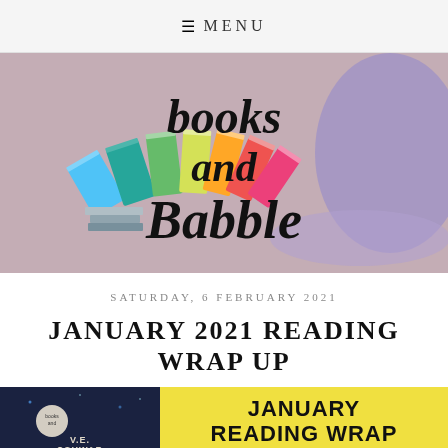≡ MENU
[Figure (logo): Books and Babble blog logo: colorful fan of books with cursive black text reading 'books and Babble', mauve/pink background with purple shape on right]
SATURDAY, 6 FEBRUARY 2021
JANUARY 2021 READING WRAP UP
[Figure (illustration): Thumbnail image split in two: left half shows a dark book cover (V.E. Schwab), right half is yellow with bold text reading 'JANUARY READING WRAP']